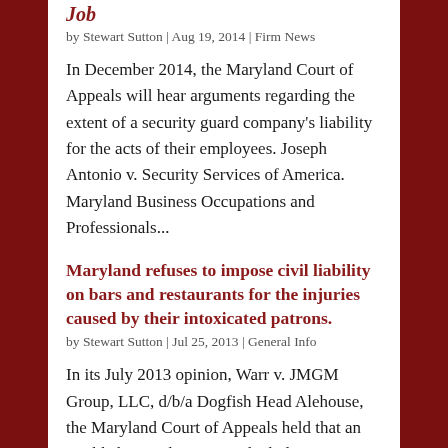Job
by Stewart Sutton | Aug 19, 2014 | Firm News
In December 2014, the Maryland Court of Appeals will hear arguments regarding the extent of a security guard company's liability for the acts of their employees. Joseph Antonio v. Security Services of America.   Maryland Business Occupations and Professionals...
Maryland refuses to impose civil liability on bars and restaurants for the injuries caused by their intoxicated patrons.
by Stewart Sutton | Jul 25, 2013 | General Info
In its July 2013 opinion, Warr v. JMGM Group, LLC, d/b/a Dogfish Head Alehouse, the Maryland Court of Appeals held that an establishment that serves alcohol is not responsible when an intoxicated patron harms a third-party while operating a vehicle.  After